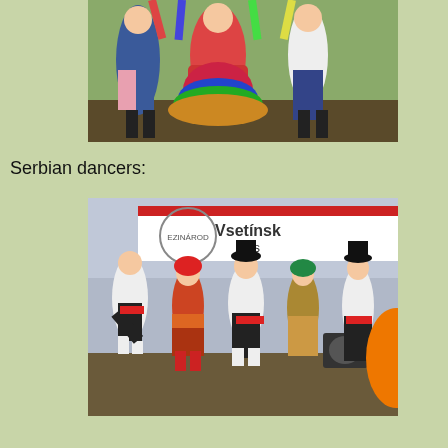[Figure (photo): Folk dancers in colorful traditional costumes performing outdoors. Women wear bright embroidered skirts and men in traditional attire.]
Serbian dancers:
[Figure (photo): Serbian folk dancers performing on a stage with a banner reading 'Vsetinska' in the background. Dancers in traditional Serbian costumes with red accents jumping and dancing energetically.]